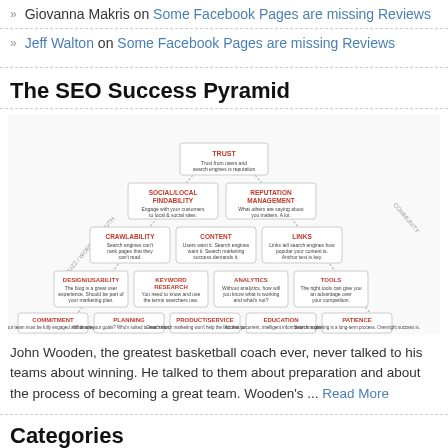Giovanna Makris on Some Facebook Pages are missing Reviews
Jeff Walton on Some Facebook Pages are missing Reviews
The SEO Success Pyramid
[Figure (infographic): The SEO Success Pyramid diagram showing pyramid-shaped layers of SEO components. From bottom to top: Commitment, Planning, Product/Service, Education, Patience; then Design/Usability, Keyword Research, Analytics, Tools; then Crawlability, Content, Links; then Social/Local Findability, Reputation Management; and at the top: Trust. Left side labeled 'Buzz/Word of Mouth' and right side labeled 'Community' with arrows pointing upward on both sides.]
John Wooden, the greatest basketball coach ever, never talked to his teams about winning. He talked to them about preparation and about the process of becoming a great team. Wooden's ... Read More
Categories
Categories   Select Category